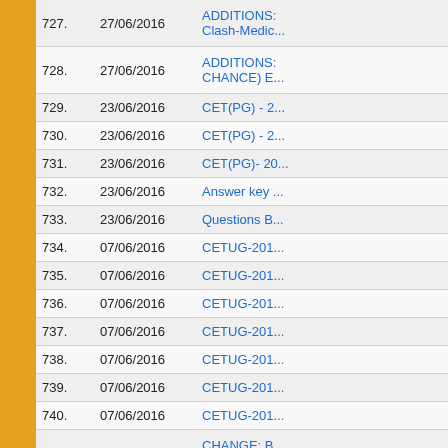| No. | Date | Title |
| --- | --- | --- |
| 727. | 27/06/2016 | ADDITIONS: Clash-Medic... |
| 728. | 27/06/2016 | ADDITIONS: CHANCE) E... |
| 729. | 23/06/2016 | CET(PG) - 2... |
| 730. | 23/06/2016 | CET(PG) - 2... |
| 731. | 23/06/2016 | CET(PG)- 20... |
| 732. | 23/06/2016 | Answer key ... |
| 733. | 23/06/2016 | Questions B... |
| 734. | 07/06/2016 | CETUG-201... |
| 735. | 07/06/2016 | CETUG-201... |
| 736. | 07/06/2016 | CETUG-201... |
| 737. | 07/06/2016 | CETUG-201... |
| 738. | 07/06/2016 | CETUG-201... |
| 739. | 07/06/2016 | CETUG-201... |
| 740. | 07/06/2016 | CETUG-201... |
| 741. | 03/06/2016 | CHANGE: B... (Paper: Fluid... |